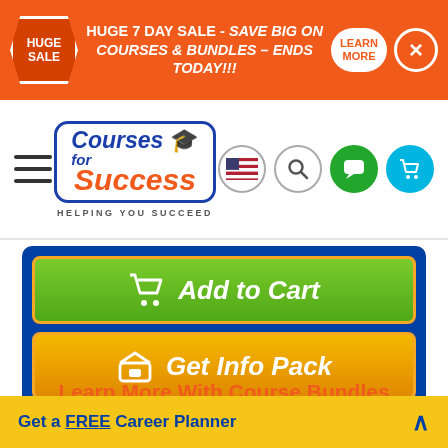[Figure (screenshot): Orange promotional banner: HUGE 7 DAY SALE - SAVE BIG ON COURSES & BUNDLES – ENDS TODAY!!! with LEARN MORE button and close X button]
[Figure (logo): Courses for Success logo with hamburger menu and navigation icons (flag, search, chat, cart)]
[Figure (screenshot): Add to Cart green button with shopping cart icon]
[Figure (screenshot): Get Info Pack orange button with package box icon]
Learn More With Course Bundles
[Figure (photo): Person photo with SALE ENDS TODAY overlay]
Get a FREE Career Planner